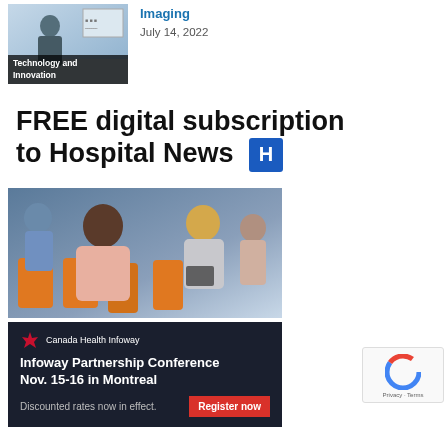[Figure (photo): Thumbnail image of a person with 'Technology and Innovation' label overlay]
Imaging
July 14, 2022
FREE digital subscription to Hospital News
[Figure (photo): Advertisement for Infoway Partnership Conference Nov. 15-16 in Montreal, showing audience seated at a conference, with Canada Health Infoway branding and a red Register now button]
Infoway Partnership Conference Nov. 15-16 in Montreal
Discounted rates now in effect.